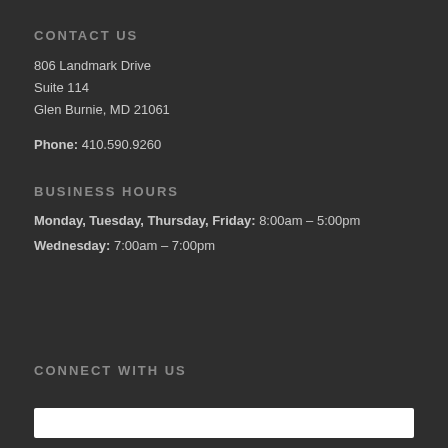CONTACT US
806 Landmark Drive
Suite 114
Glen Burnie, MD 21061
Phone: 410.590.9260
BUSINESS HOURS
Monday, Tuesday, Thursday, Friday: 8:00am – 5:00pm
Wednesday: 7:00am – 7:00pm
CONNECT WITH US